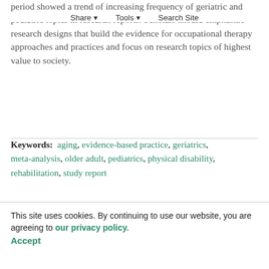Share | Tools | Search Site
period showed a trend of increasing frequency of geriatric and pediatric topics in research reports. Scholars should emphasize research designs that build the evidence for occupational therapy approaches and practices and focus on research topics of highest value to society.
Keywords: aging, evidence-based practice, geriatrics, meta-analysis, older adult, pediatrics, physical disability, rehabilitation, study report
This content is only available via PDF.
Copyright © 2008 by the American Occupational Therapy Association, Inc.
You do not currently have access to this content.
This site uses cookies. By continuing to use our website, you are agreeing to our privacy policy. Accept